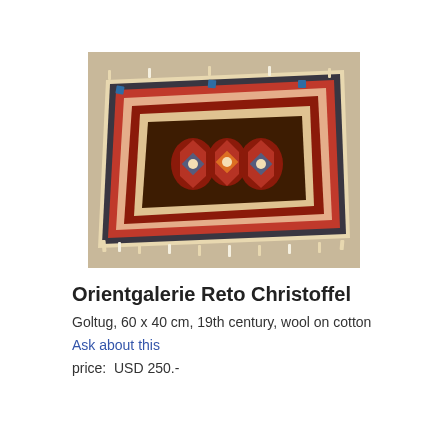[Figure (photo): A Goltug rug laid flat on a stone/gravel surface, photographed from above at a slight angle. The rug has a rectangular format with geometric patterns including medallions in a dark central field, surrounded by borders with red, blue, cream, and green floral and leaf motifs.]
Orientgalerie Reto Christoffel
Goltug, 60 x 40 cm, 19th century, wool on cotton
Ask about this
price:  USD 250.-